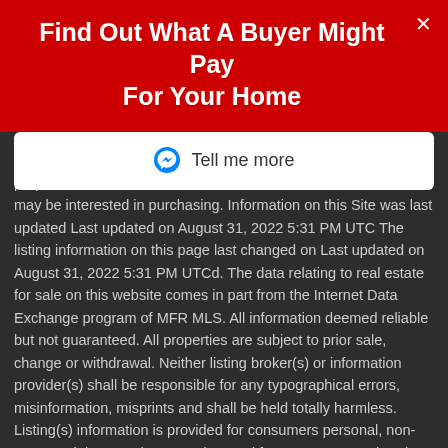Find Out What A Buyer Might Pay For Your Home
[Figure (screenshot): Tell me more button with Messenger icon]
purpose mers may be interested in purchasing. Information on this Site was last updated Last updated on August 31, 2022 5:31 PM UTC The listing information on this page last changed on Last updated on August 31, 2022 5:31 PM UTCd. The data relating to real estate for sale on this website comes in part from the Internet Data Exchange program of MFR MLS. All information deemed reliable but not guaranteed. All properties are subject to prior sale, change or withdrawal. Neither listing broker(s) or information provider(s) shall be responsible for any typographical errors, misinformation, misprints and shall be held totally harmless. Listing(s) information is provided for consumers personal, non-commercial use and may not be used for any purpose other than to identify